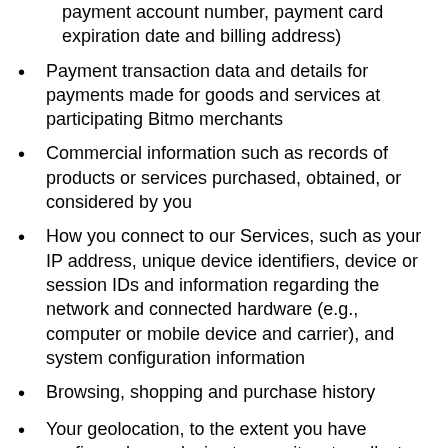payment account number, payment card expiration date and billing address)
Payment transaction data and details for payments made for goods and services at participating Bitmo merchants
Commercial information such as records of products or services purchased, obtained, or considered by you
How you connect to our Services, such as your IP address, unique device identifiers, device or session IDs and information regarding the network and connected hardware (e.g., computer or mobile device and carrier), and system configuration information
Browsing, shopping and purchase history
Your geolocation, to the extent you have configured your device to permit us to collect such information, date and time stamps associated with transactions, and locale preferences
Click-stream data (internet or other electronic information regarding you browsing history, search history, the web page visited before you came to our website, length of visit and number of page views, click